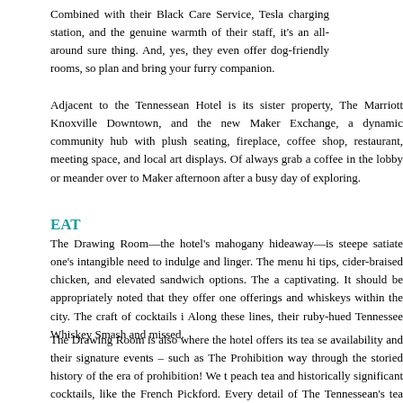Combined with their Black Care Service, Tesla charging station, and the genuine warmth of their staff, it's an all-around sure thing. And, yes, they even offer dog-friendly rooms, so plan and bring your furry companion.
Adjacent to the Tennessean Hotel is its sister property, The Marriott Knoxville Downtown, and the new Maker Exchange, a dynamic community hub with plush seating, fireplace, coffee shop, restaurant, meeting space, and local art displays. Of always grab a coffee in the lobby or meander over to Maker afternoon after a busy day of exploring.
EAT
The Drawing Room—the hotel's mahogany hideaway—is steepe satiate one's intangible need to indulge and linger. The menu hi tips, cider-braised chicken, and elevated sandwich options. The a captivating. It should be appropriately noted that they offer one offerings and whiskeys within the city. The craft of cocktails i Along these lines, their ruby-hued Tennessee Whiskey Smash and missed.
The Drawing Room is also where the hotel offers its tea se availability and their signature events – such as The Prohibition way through the storied history of the era of prohibition! We t peach tea and historically significant cocktails, like the French Pickford. Every detail of The Tennessean's tea service imbues a and the towers of beautiful bites lovingly linger among my most t